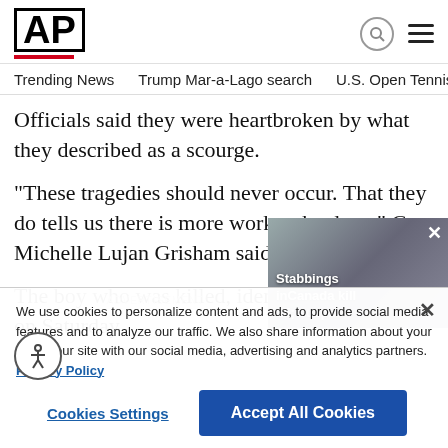AP
Trending News  Trump Mar-a-Lago search  U.S. Open Tennis
Officials said they were heartbroken by what they described as a scourge.
“These tragedies should never occur. That they do tells us there is more work to be done,” Gov. Michelle Lujan Grisham said.
The boy who was killed, identified by police on Saturday as 12-year-old Bennie Hargrove, was...
[Figure (screenshot): Cookie consent banner overlay with text about cookies and privacy policy, Cookies Settings button, and Accept All Cookies button. Also shows accessibility icon and a video thumbnail of stabbings in Canada news story.]